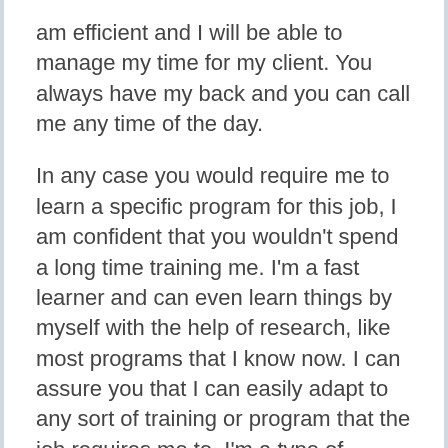am efficient and I will be able to manage my time for my client. You always have my back and you can call me any time of the day.
In any case you would require me to learn a specific program for this job, I am confident that you wouldn't spend a long time training me. I'm a fast learner and can even learn things by myself with the help of research, like most programs that I know now. I can assure you that I can easily adapt to any sort of training or program that the job requires me to. I'm a type of employee that can work under pressure with minimal supervision once I've learned the ropes.
I am so excited to work with you and help you grow your business!